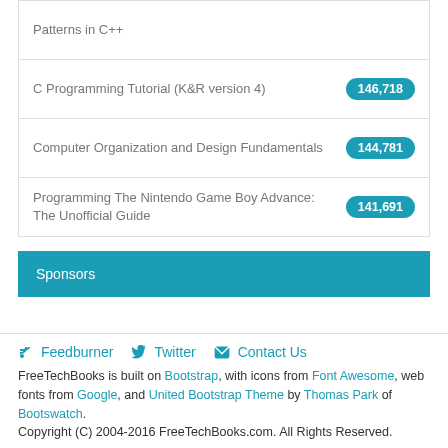| Title | Count |
| --- | --- |
| Patterns in C++ |  |
| C Programming Tutorial (K&R version 4) | 146,718 |
| Computer Organization and Design Fundamentals | 144,781 |
| Programming The Nintendo Game Boy Advance: The Unofficial Guide | 141,691 |
Sponsors
Feedburner  Twitter  Contact Us
FreeTechBooks is built on Bootstrap, with icons from Font Awesome, web fonts from Google, and United Bootstrap Theme by Thomas Park of Bootswatch.
Copyright (C) 2004-2016 FreeTechBooks.com. All Rights Reserved.